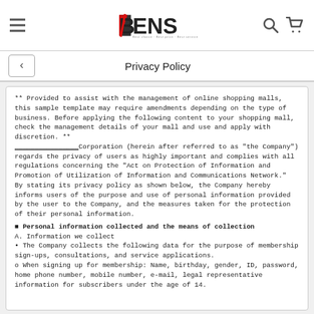BENS logo with menu and search/cart icons
Privacy Policy
** Provided to assist with the management of online shopping malls, this sample template may require amendments depending on the type of business. Before applying the following content to your shopping mall, check the management details of your mall and use and apply with discretion. ** ________________Corporation (herein after referred to as "the Company") regards the privacy of users as highly important and complies with all regulations concerning the "Act on Protection of Information and Promotion of Utilization of Information and Communications Network." By stating its privacy policy as shown below, the Company hereby informs users of the purpose and use of personal information provided by the user to the Company, and the measures taken for the protection of their personal information.
■ Personal information collected and the means of collection
A. Information we collect
• The Company collects the following data for the purpose of membership sign-ups, consultations, and service applications.
o When signing up for membership: Name, birthday, gender, ID, password, home phone number, mobile number, e-mail, legal representative information for subscribers under the age of 14.